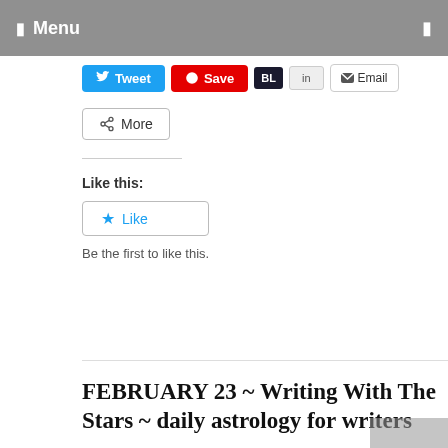Menu
[Figure (screenshot): Share buttons row: Tweet (blue), Save (red), small dark button, LinkedIn-style button, Email button]
[Figure (screenshot): More share button with share icon]
Like this:
[Figure (screenshot): Like button with star icon]
Be the first to like this.
FEBRUARY 23 ~ Writing With The Stars ~ daily astrology for writers
[Figure (photo): Night sky photo with full moon glowing through clouds]
There's a grand trine today that spells love, love, love. Especially